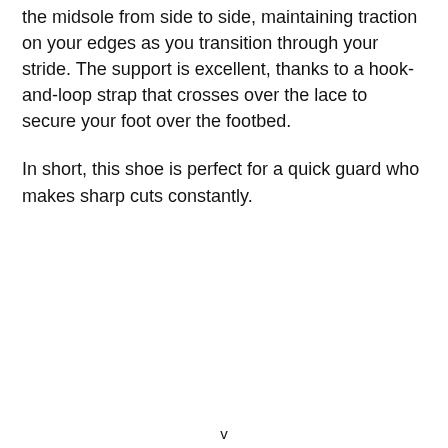the midsole from side to side, maintaining traction on your edges as you transition through your stride. The support is excellent, thanks to a hook-and-loop strap that crosses over the lace to secure your foot over the footbed.
In short, this shoe is perfect for a quick guard who makes sharp cuts constantly.
v